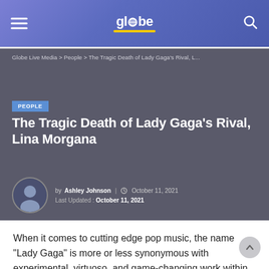globe
Globe Live Media > People > The Tragic Death of Lady Gaga's Rival, L...
PEOPLE
The Tragic Death of Lady Gaga's Rival, Lina Morgana
by Ashley Johnson | October 11, 2021
Last Updated: October 11, 2021
When it comes to cutting edge pop music, the name “Lady Gaga” is more or less synonymous with experimental, virtuoso, and game-changing work within the industry. Whether he’s into most dra...